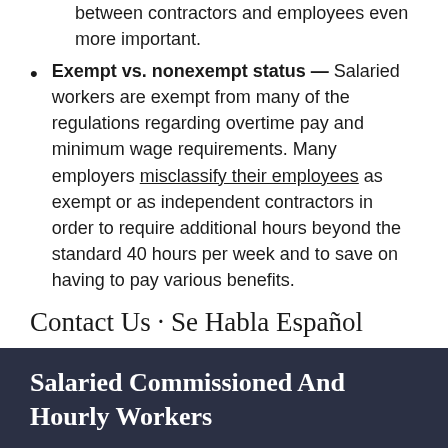between contractors and employees even more important.
Exempt vs. nonexempt status — Salaried workers are exempt from many of the regulations regarding overtime pay and minimum wage requirements. Many employers misclassify their employees as exempt or as independent contractors in order to require additional hours beyond the standard 40 hours per week and to save on having to pay various benefits.
Contact Us · Se Habla Español
Call our office or use our convenient email contact form to arrange an opportunity to discuss your case with one of our attorneys.
Salaried Commissioned And Hourly Workers